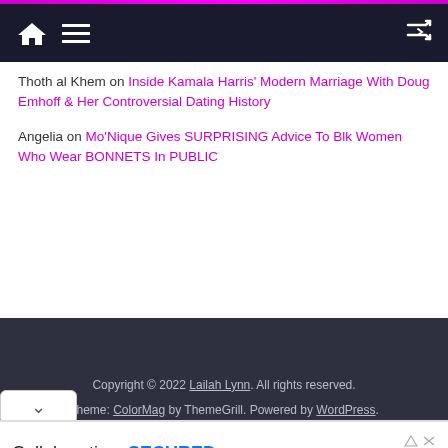Navigation bar with home, menu, and shuffle icons
Thoth al Khem on Inside Kamala Harris' Modern Marriage With Doug Emhoff & Her Controversial Dating History
Angelia on Mo'Nique Gives SURPRISING Advice To Blk Women Who Wear BONNETS In PUBLIC
Copyright © 2022 Lailah Lynn. All rights reserved. Theme: ColorMag by ThemeGrill. Powered by WordPress.
[Figure (screenshot): Advertisement banner: Collaboration, SECURED. Accelerate secure collaboration across your enterprise. Discover How button. Virtru logo.]